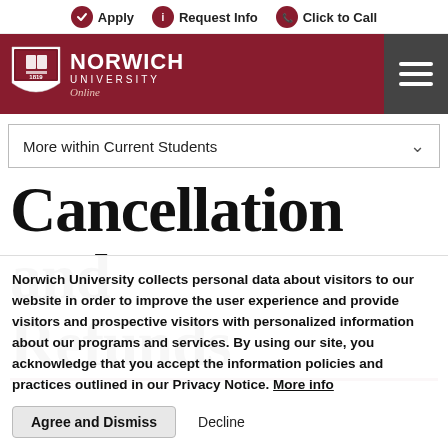Apply | Request Info | Click to Call
[Figure (logo): Norwich University Online logo with shield emblem, white text on dark red background, with hamburger menu icon]
More within Current Students
Cancellation and Refunds
Norwich University collects personal data about visitors to our website in order to improve the user experience and provide visitors and prospective visitors with personalized information about our programs and services. By using our site, you acknowledge that you accept the information policies and practices outlined in our Privacy Notice. More info
Agree and Dismiss   Decline